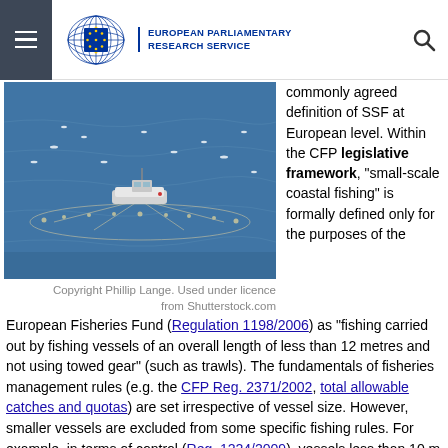European Parliamentary Research Service
[Figure (photo): Aerial view of a small fishing boat on blue ocean water with fishing nets deployed around it and seabirds nearby]
Copyright Phillip Lange. Used under licence from Shutterstock.com
commonly agreed definition of SSF at European level. Within the CFP legislative framework, "small-scale coastal fishing" is formally defined only for the purposes of the European Fisheries Fund (Regulation 1198/2006) as "fishing carried out by fishing vessels of an overall length of less than 12 metres and not using towed gear" (such as trawls). The fundamentals of fisheries management rules (e.g. the CFP Reg. 2371/2002, total allowable catches and quotas) are set irrespective of vessel size. However, smaller vessels are excluded from some specific fishing rules. For example, in terms of control (Reg. 1224/2009), vessels less than 10 m in length are not obliged to keep a logbook of their fishing